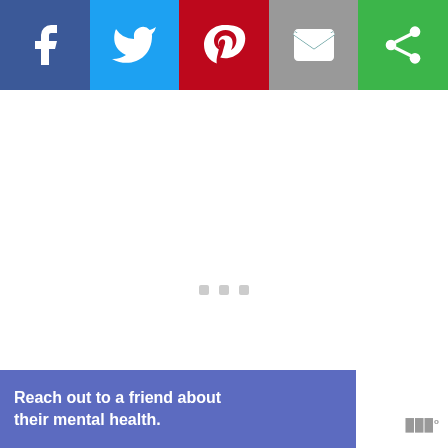[Figure (screenshot): Social media share bar with Facebook (blue), Twitter (light blue), Pinterest (red), Email (gray), and a green share button]
[Figure (screenshot): White content area with three small gray loading squares in the center and a watermark logo bottom right]
Like what you see and want more? Join over 12,400 readers and sweeten up
Scroll to top
Reach out to a friend about their mental health.
Reach out and talk!